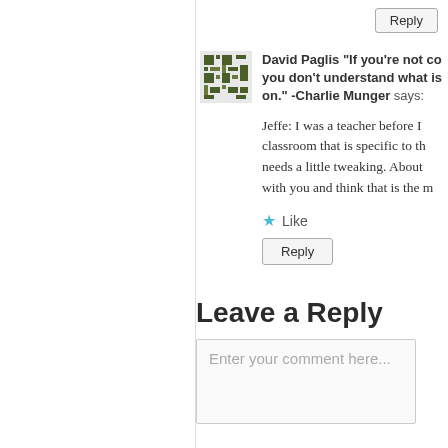Reply
David Paglis "If you're not con... you don't understand what is ... on." -Charlie Munger says:
Jeffe: I was a teacher before I... classroom that is specific to th... needs a little tweaking. About ... with you and think that is the m...
Like
Reply
Leave a Reply
Enter your comment here...